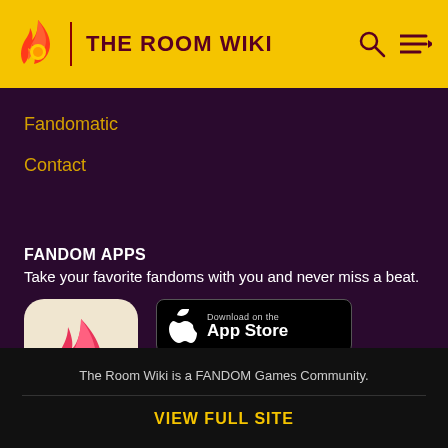THE ROOM WIKI
Fandomatic
Contact
FANDOM APPS
Take your favorite fandoms with you and never miss a beat.
[Figure (logo): Fandom app icon with flame and heart on light background]
[Figure (screenshot): Download on the App Store button]
[Figure (screenshot): GET IT ON Google Play button]
The Room Wiki is a FANDOM Games Community.
VIEW FULL SITE